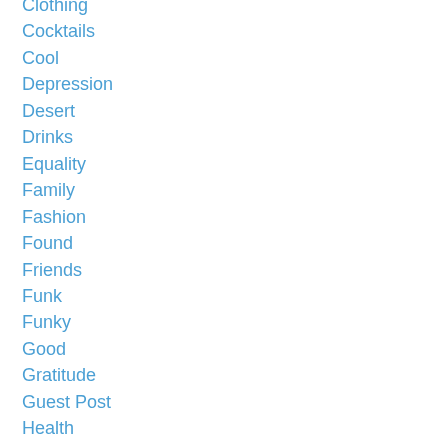Clothing
Cocktails
Cool
Depression
Desert
Drinks
Equality
Family
Fashion
Found
Friends
Funk
Funky
Good
Gratitude
Guest Post
Health
Heather
Inappropriate Social Interactions
Jewelry
Living On A Budget